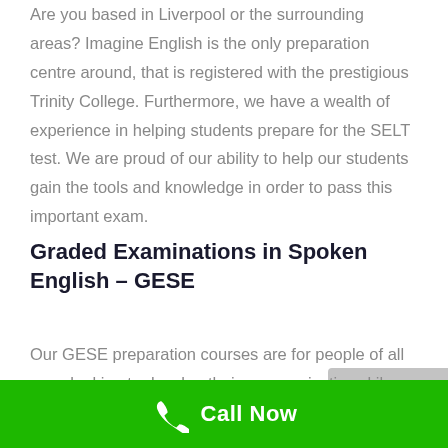Are you based in Liverpool or the surrounding areas? Imagine English is the only preparation centre around, that is registered with the prestigious Trinity College. Furthermore, we have a wealth of experience in helping students prepare for the SELT test. We are proud of our ability to help our students gain the tools and knowledge in order to pass this important exam.
Graded Examinations in Spoken English – GESE
Our GESE preparation courses are for people of all ages looking to develop their communicative skills. The
Call Now